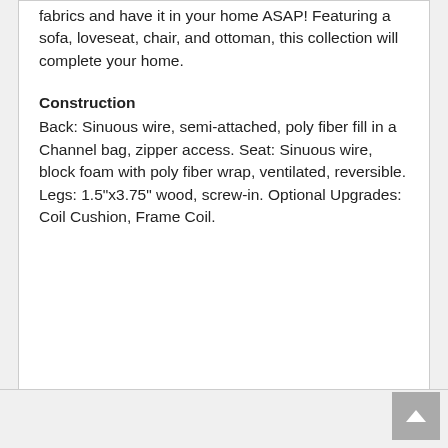fabrics and have it in your home ASAP! Featuring a sofa, loveseat, chair, and ottoman, this collection will complete your home.
Construction
Back: Sinuous wire, semi-attached, poly fiber fill in a Channel bag, zipper access. Seat: Sinuous wire, block foam with poly fiber wrap, ventilated, reversible. Legs: 1.5"x3.75" wood, screw-in. Optional Upgrades: Coil Cushion, Frame Coil.